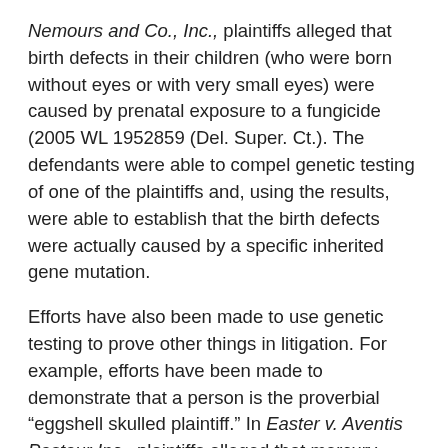Nemours and Co., Inc., plaintiffs alleged that birth defects in their children (who were born without eyes or with very small eyes) were caused by prenatal exposure to a fungicide (2005 WL 1952859 (Del. Super. Ct.). The defendants were able to compel genetic testing of one of the plaintiffs and, using the results, were able to establish that the birth defects were actually caused by a specific inherited gene mutation.
Efforts have also been made to use genetic testing to prove other things in litigation. For example, efforts have been made to demonstrate that a person is the proverbial “eggshell skulled plaintiff.” In Easter v. Aventis Pasteur Inc., plaintiffs alleged that mercury-based thimerosal used as a